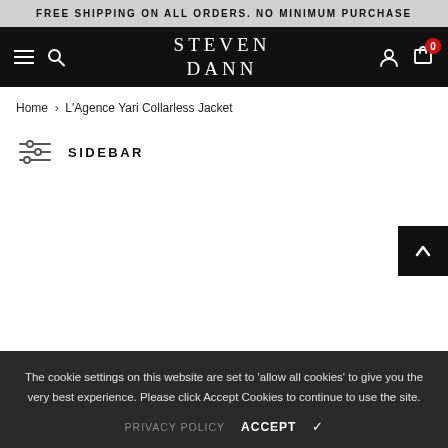FREE SHIPPING ON ALL ORDERS. NO MINIMUM PURCHASE
[Figure (screenshot): Steven Dann navigation bar with hamburger menu, search icon, logo, user icon, and cart icon with badge showing 0]
Home > L'Agence Yari Collarless Jacket
SIDEBAR
The cookie settings on this website are set to 'allow all cookies' to give you the very best experience. Please click Accept Cookies to continue to use the site.
PRIVACY POLICY   ACCEPT ✔